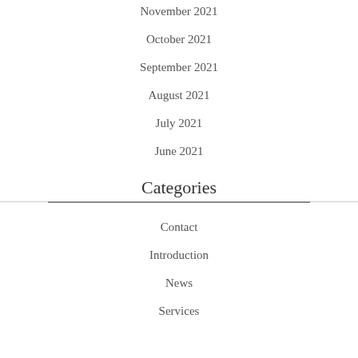November 2021
October 2021
September 2021
August 2021
July 2021
June 2021
Categories
Contact
Introduction
News
Services